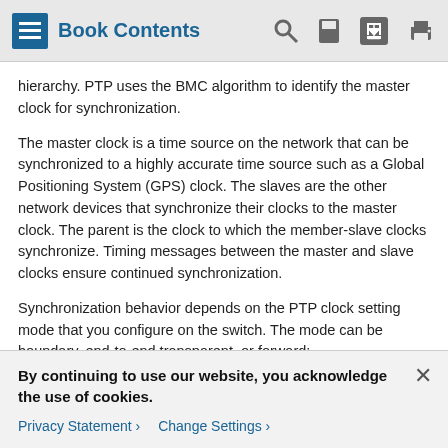Book Contents
hierarchy. PTP uses the BMC algorithm to identify the master clock for synchronization.
The master clock is a time source on the network that can be synchronized to a highly accurate time source such as a Global Positioning System (GPS) clock. The slaves are the other network devices that synchronize their clocks to the master clock. The parent is the clock to which the member-slave clocks synchronize. Timing messages between the master and slave clocks ensure continued synchronization.
Synchronization behavior depends on the PTP clock setting mode that you configure on the switch. The mode can be boundary, end-to-end transparent, or forward:
A switch clock in boundary mode participates in the
By continuing to use our website, you acknowledge the use of cookies.
Privacy Statement > Change Settings >